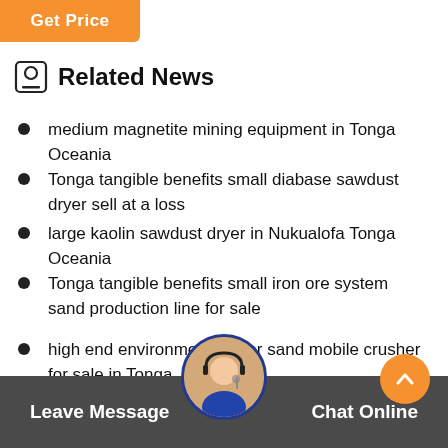[Figure (other): Get Price orange button]
Related News
medium magnetite mining equipment in Tonga Oceania
Tonga tangible benefits small diabase sawdust dryer sell at a loss
large kaolin sawdust dryer in Nukualofa Tonga Oceania
Tonga tangible benefits small iron ore system sand production line for sale
high end environmental river sand mobile crusher for sale in Tonga
high quality environmental gold mine sand making machine at a bargain price in Tonga
layout stone crusher plant in venezuela
Leave Message   Chat Online